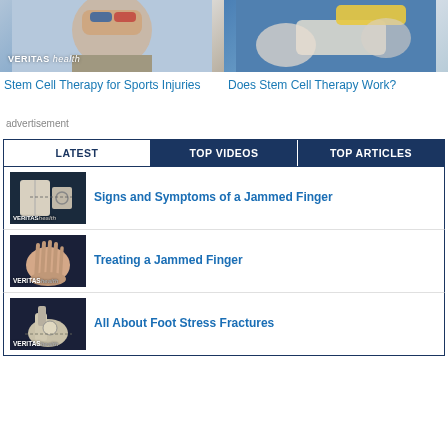[Figure (photo): Medical image with person wearing glasses on left, Veritas Health logo overlay]
[Figure (photo): Medical professional with yellow syringe and gloves on right]
Stem Cell Therapy for Sports Injuries
Does Stem Cell Therapy Work?
advertisement
LATEST | TOP VIDEOS | TOP ARTICLES
[Figure (photo): Anatomy diagram of finger joints, Veritas Health logo]
Signs and Symptoms of a Jammed Finger
[Figure (photo): Hand with open palm fingers spread, Veritas Health logo]
Treating a Jammed Finger
[Figure (photo): Foot/ankle anatomy diagram, Veritas Health logo]
All About Foot Stress Fractures